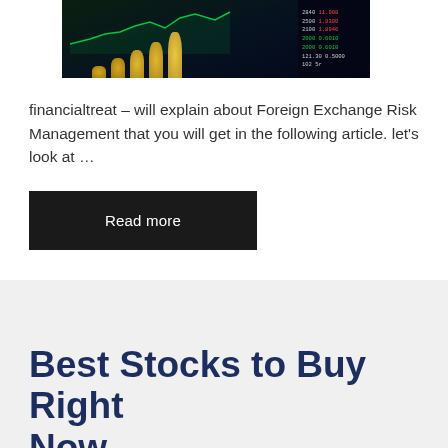[Figure (photo): Financial photo showing stacked coins of increasing height against a dark background with a green stock chart line and stock ticker numbers on the right side]
financialtreat – will explain about Foreign Exchange Risk Management that you will get in the following article. let's look at …
Read more
Best Stocks to Buy Right Now